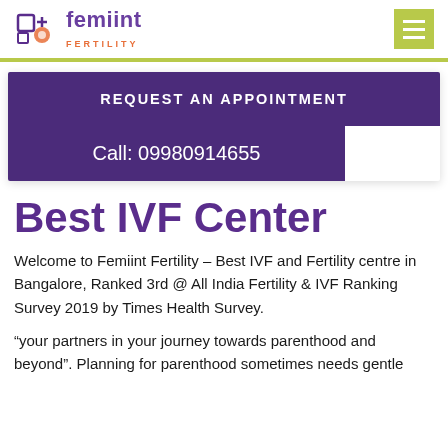Femiint Fertility
REQUEST AN APPOINTMENT
Call: 09980914655
Best IVF Center
Welcome to Femiint Fertility – Best IVF and Fertility centre in Bangalore, Ranked 3rd @ All India Fertility & IVF Ranking Survey 2019 by Times Health Survey.
“your partners in your journey towards parenthood and beyond”. Planning for parenthood sometimes needs gentle